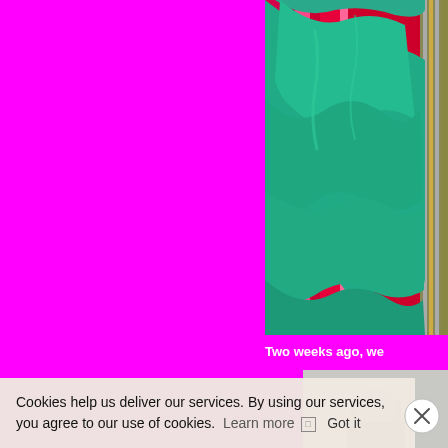[Figure (photo): Photo of folded teal/green fabric or blanket on top of colorful striped textiles (pink, red, multicolor). The teal fabric is draped and folded.]
Two weeks ago, we
[Figure (photo): Partial photo of a person against a light gray/white background, visible from lower portion of image.]
Cookies help us deliver our services. By using our services, you agree to our use of cookies. Learn more [icon] Got it